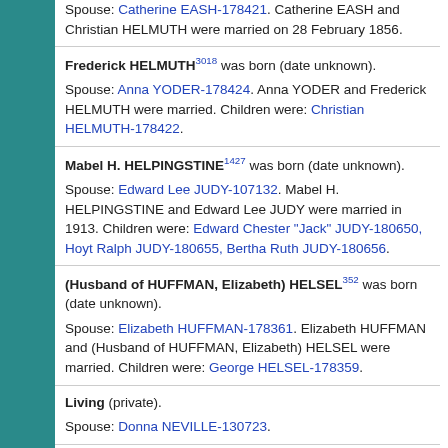Spouse: Catherine EASH-178421. Catherine EASH and Christian HELMUTH were married on 28 February 1856.
Frederick HELMUTH[3018] was born (date unknown).
Spouse: Anna YODER-178424. Anna YODER and Frederick HELMUTH were married. Children were: Christian HELMUTH-178422.
Mabel H. HELPINGSTINE[1427] was born (date unknown).
Spouse: Edward Lee JUDY-107132. Mabel H. HELPINGSTINE and Edward Lee JUDY were married in 1913. Children were: Edward Chester "Jack" JUDY-180650, Hoyt Ralph JUDY-180655, Bertha Ruth JUDY-180656.
(Husband of HUFFMAN, Elizabeth) HELSEL[352] was born (date unknown).
Spouse: Elizabeth HUFFMAN-178361. Elizabeth HUFFMAN and (Husband of HUFFMAN, Elizabeth) HELSEL were married. Children were: George HELSEL-178359.
Living (private).
Spouse: Donna NEVILLE-130723.
(Husband of OTT, Evelyn) HELSEL[2778] was born (date unknown).